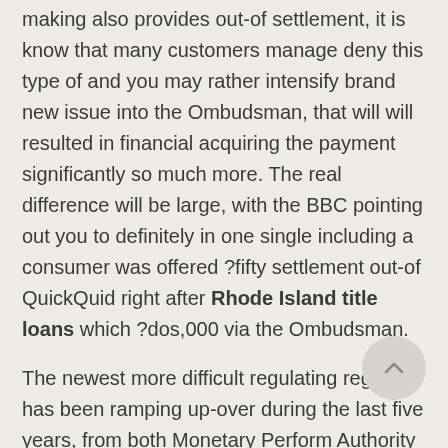making also provides out-of settlement, it is know that many customers manage deny this type of and you may rather intensify brand new issue into the Ombudsman, that will will resulted in financial acquiring the payment significantly so much more. The real difference will be large, with the BBC pointing out you to definitely in one single including a consumer was offered ?fifty settlement out-of QuickQuid right after Rhode Island title loans which ?dos,000 via the Ombudsman.
The newest more difficult regulating regimen has been ramping up-over during the last five years, from both Monetary Perform Authority and the Battle and Areas